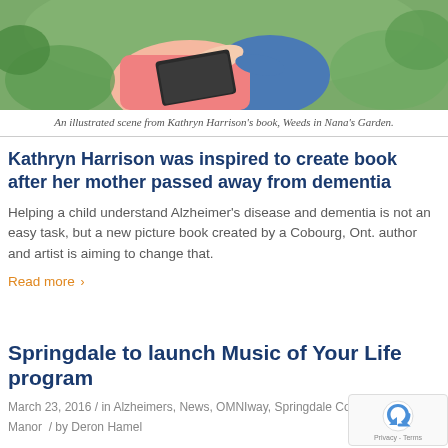[Figure (illustration): An illustrated scene showing figures in a garden setting, from Kathryn Harrison's book Weeds in Nana's Garden. Shows hands and colorful painted figures.]
An illustrated scene from Kathryn Harrison's book, Weeds in Nana's Garden.
Kathryn Harrison was inspired to create book after her mother passed away from dementia
Helping a child understand Alzheimer's disease and dementia is not an easy task, but a new picture book created by a Cobourg, Ont. author and artist is aiming to change that.
Read more ›
Springdale to launch Music of Your Life program
March 23, 2016 / in Alzheimers, News, OMNIway, Springdale County Manor / by Deron Hamel